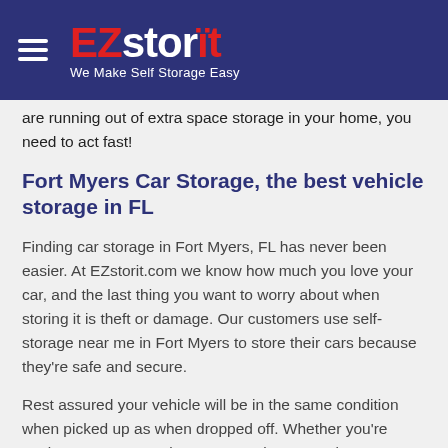EZstorit — We Make Self Storage Easy
are running out of extra space storage in your home, you need to act fast!
Fort Myers Car Storage, the best vehicle storage in FL
Finding car storage in Fort Myers, FL has never been easier. At EZstorit.com we know how much you love your car, and the last thing you want to worry about when storing it is theft or damage. Our customers use self-storage near me in Fort Myers to store their cars because they're safe and secure.
Rest assured your vehicle will be in the same condition when picked up as when dropped off. Whether you're storing a sports car, vintage car, or just a regular car you don't need at the moment, EZstorit.com can help you find a secure and affordable vehicle storage unit in your area.
The weather in Fort Myers, FL will determine